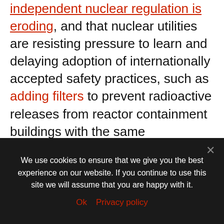independent nuclear regulation is eroding, and that nuclear utilities are resisting pressure to learn and delaying adoption of internationally accepted safety practices, such as adding filters to prevent radioactive releases from reactor containment buildings with the same characteristics as Fukushima Daiichi.
The most crucial lesson we see is the need to counteract nuclear nationalism and isolationism. Ensuring close cooperation between countries developing nuclear projects is essential today as the forces of populism, nationalism and anti-globalism
We use cookies to ensure that we give you the best experience on our website. If you continue to use this site we will assume that you are happy with it.
Ok   Privacy policy